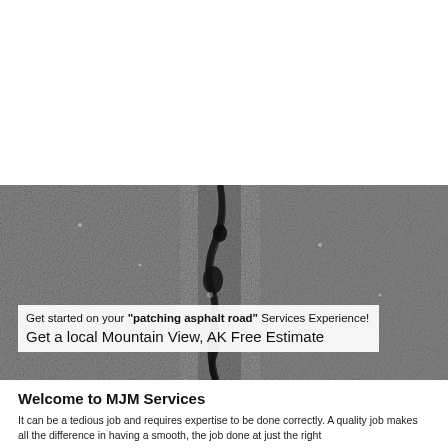[Figure (photo): Black and white photograph of cracked asphalt road surface with a prominent crack running through the center. Overlaid text box reads: Get started on your "patching asphalt road" Services Experience! / Get a local Mountain View, AK Free Estimate]
Welcome to MJM Services
It can be a tedious job and requires expertise to be done correctly. A quality job makes all the difference in having a smooth, the job done at just the right...